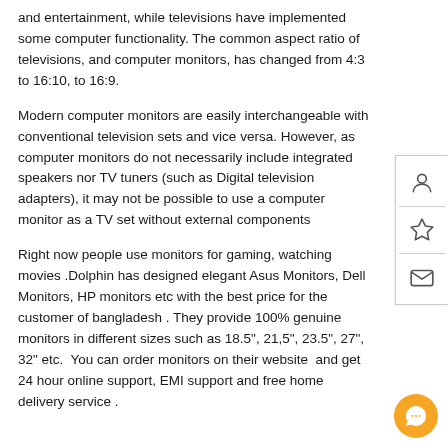and entertainment, while televisions have implemented some computer functionality. The common aspect ratio of televisions, and computer monitors, has changed from 4:3 to 16:10, to 16:9.
Modern computer monitors are easily interchangeable with conventional television sets and vice versa. However, as computer monitors do not necessarily include integrated speakers nor TV tuners (such as Digital television adapters), it may not be possible to use a computer monitor as a TV set without external components
Right now people use monitors for gaming, watching movies .Dolphin has designed elegant Asus Monitors, Dell Monitors, HP monitors etc with the best price for the customer of bangladesh . They provide 100% genuine monitors in different sizes such as 18.5", 21,5", 23.5", 27", 32" etc.  You can order monitors on their website  and get 24 hour online support, EMI support and free home delivery service .